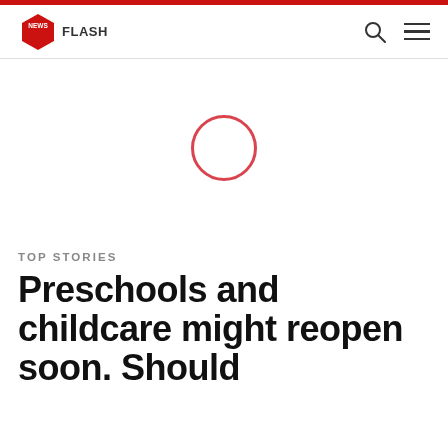NEWS FLASH
[Figure (illustration): Loading spinner — a red outlined circle on white background, indicating an image is loading]
TOP STORIES
Preschools and childcare might reopen soon. Should